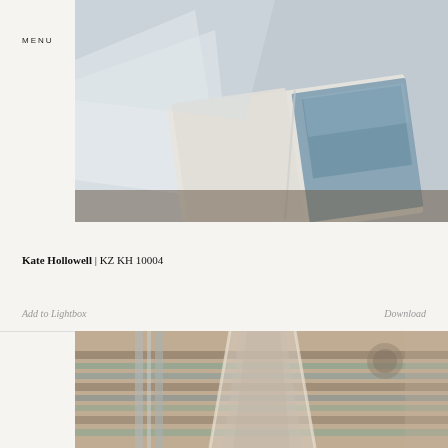MENU
KINTZING
[Figure (photo): Open art book or photo book lying on a surface, pages showing a blue landscape or seascape photograph, wrapped in tissue paper]
Kate Hollowell | KZ KH 10004
Add to Lightbox
Download
[Figure (photo): Close-up of a geometric abstract painting or artwork with bold striped pattern in earth tones featuring a central V or chevron shape with chrome/metallic vertical elements]